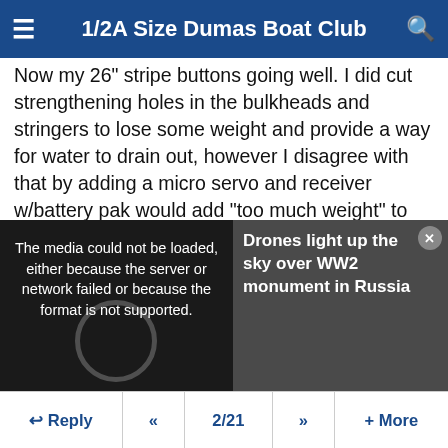1/2A Size Dumas Boat Club
Now my 26" stripe buttons going well. I did cut strengthening holes in the bulkheads and stringers to lose some weight and provide a way for water to drain out, however I disagree with that by adding a micro servo and receiver w/battery pak would add "too much weight" to get up on plane like what was suggested by other modelers.
My thoughts were to put the servo and receiver up front of the engine, run a flex cable in a aluminum tube back for the rudder. This hull is originally intended for a tethered line, not r/c. And setting up the hardware as it is in the plans probably wont work too good w/ added r/c gear.
[Figure (screenshot): Video player showing media error message 'The media could not be loaded, either because the server or network failed or because the format is not supported.' with a dark background and a thumbnail on the right showing text: 'Drones light up the sky over WW2 monument in Russia']
Reply  «  2/21  »  + More